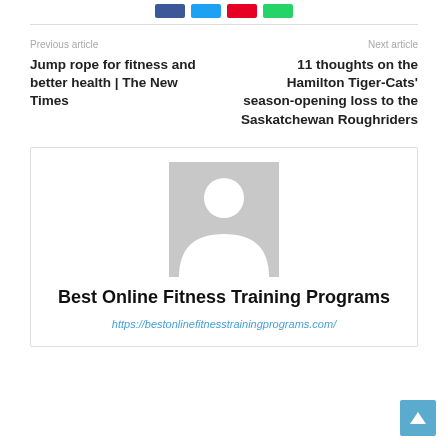[Figure (other): Row of social share buttons: Facebook (blue), Twitter (cyan), Pinterest (red), WhatsApp (green)]
Previous article
Next article
Jump rope for fitness and better health | The New Times
11 thoughts on the Hamilton Tiger-Cats' season-opening loss to the Saskatchewan Roughriders
[Figure (illustration): Default avatar placeholder image — grey background with white silhouette of a person]
Best Online Fitness Training Programs
https://bestonlinefitnesstrainingprograms.com/